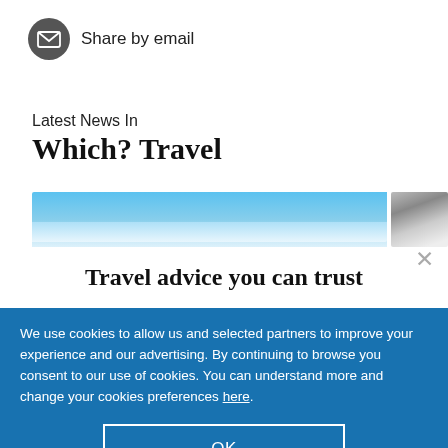[Figure (logo): Email envelope icon inside a dark grey circle with 'Share by email' text]
Share by email
Latest News In
Which? Travel
[Figure (photo): Blue sky landscape image strip and a partial side image]
×
Travel advice you can trust
We use cookies to allow us and selected partners to improve your experience and our advertising. By continuing to browse you consent to our use of cookies. You can understand more and change your cookies preferences here.
OK